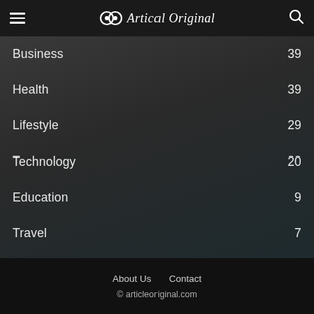Artical Original
Business 39
Health 39
Lifestyle 29
Technology 20
Education 9
Travel 7
Digital Marketing 7
Seo 5
Finance 3
About Us  Contact
© articleoriginal.com